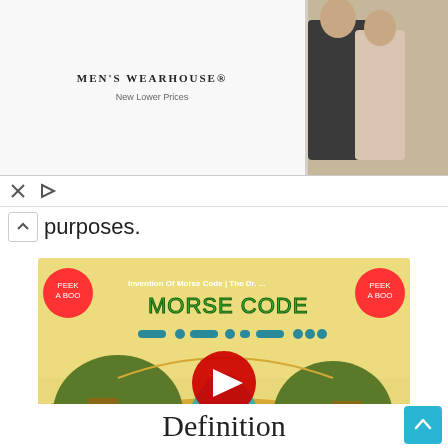[Figure (screenshot): Men's Wearhouse advertisement banner showing a couple in formalwear, a man in a tuxedo, and a VIEW button on blue background]
purposes.
[Figure (screenshot): YouTube video thumbnail for 'Invention Of Morse Code | The Dr. ...' from Peek-A-Boo channel, showing animated cartoon in desert scene with 'WHAT HATH GOD WROUGHT?' text and Morse code symbols. Red YouTube play button in center.]
Definition